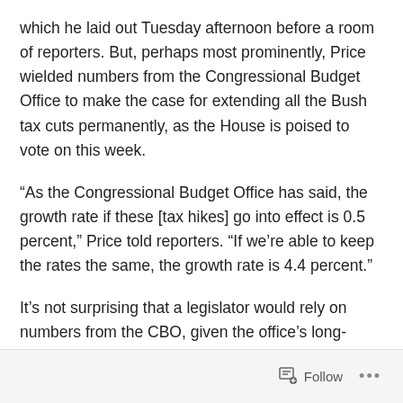which he laid out Tuesday afternoon before a room of reporters. But, perhaps most prominently, Price wielded numbers from the Congressional Budget Office to make the case for extending all the Bush tax cuts permanently, as the House is poised to vote on this week.
“As the Congressional Budget Office has said, the growth rate if these [tax hikes] go into effect is 0.5 percent,” Price told reporters. “If we’re able to keep the rates the same, the growth rate is 4.4 percent.”
It’s not surprising that a legislator would rely on numbers from the CBO, given the office’s long-standing reputation as a non-partisan, independent scorekeeper. But in the next breath, Price dismissed another major finding from
Follow ...